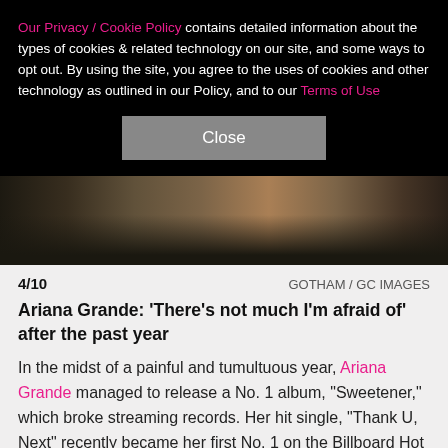Our Privacy / Cookie Policy contains detailed information about the types of cookies & related technology on our site, and some ways to opt out. By using the site, you agree to the uses of cookies and other technology as outlined in our Policy, and to our Terms of Use
Close
[Figure (photo): Photo strip showing legs/feet of people, dark background]
4/10   GOTHAM / GC IMAGES
Ariana Grande: 'There's not much I'm afraid of' after the past year
In the midst of a painful and tumultuous year, Ariana Grande managed to release a No. 1 album, "Sweetener," which broke streaming records. Her hit single, "Thank U, Next" recently became her first No. 1 on the Billboard Hot 100 and a handful of others have soared up the charts, as well. The singer reflects on her